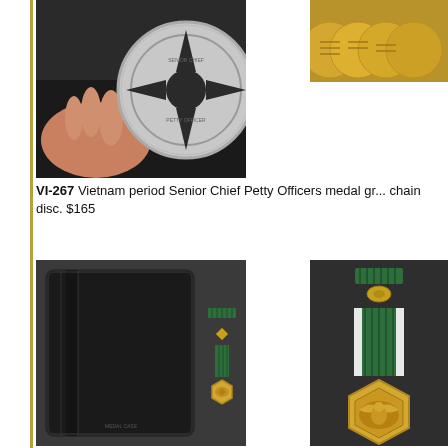[Figure (photo): Hand holding a silver/chrome Chief Petty Officers chain disc medal with star cutouts, viewed against a dark background]
[Figure (photo): Row of gold/bronze military medals laid flat on a surface]
VI-267  Vietnam period Senior Chief Petty Officers medal gr... chain disc. $165
[Figure (photo): Black medal presentation case with a small Navy Commendation medal with green ribbon and hexagonal gold pendant placed beside it]
[Figure (photo): Close-up of a Navy Commendation medal with green and white striped ribbon, gold hexagonal pendant with eagle, and ribbon bar and pin above]